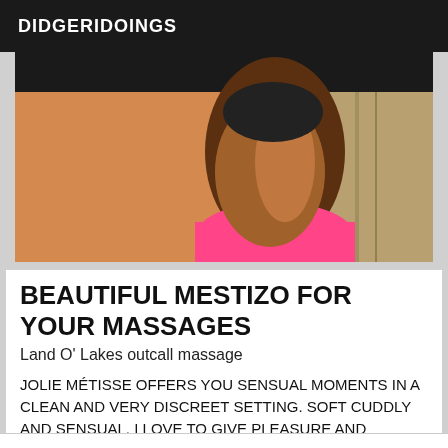DIDGERIDOINGS
[Figure (photo): Photo showing a person from behind in a room/bathroom setting, wearing pink shorts, with warm brown tones throughout the image.]
BEAUTIFUL MESTIZO FOR YOUR MASSAGES
Land O' Lakes outcall massage
JOLIE MÉTISSE OFFERS YOU SENSUAL MOMENTS IN A CLEAN AND VERY DISCREET SETTING. SOFT CUDDLY AND SENSUAL. I LOVE TO GIVE PLEASURE AND RECEIVE. NOTHING MORE THAN THIS MOMENT. CONTACT ME FOR AN APPOINTMENT. NOT SERIOUS ABSTAIN